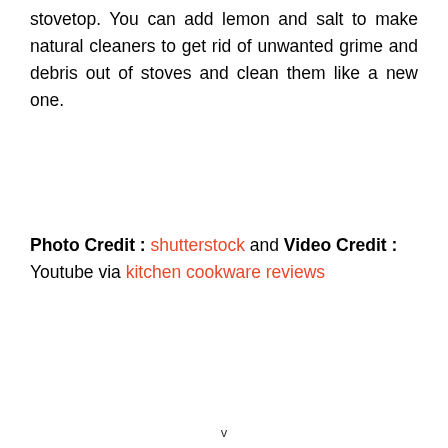stovetop. You can add lemon and salt to make natural cleaners to get rid of unwanted grime and debris out of stoves and clean them like a new one.
Photo Credit : shutterstock and Video Credit : Youtube via kitchen cookware reviews
v